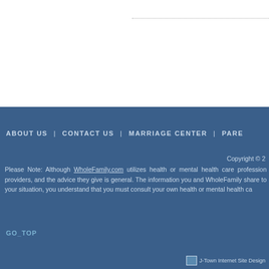ABOUT US | CONTACT US | MARRIAGE CENTER | PARE...
Copyright © 2
Please Note: Although WholeFamily.com utilizes health or mental health care profession providers, and the advice they give is general. The information you and WholeFamily share to your situation, you understand that you must consult your own health or mental health ca
GO_TOP
[Figure (logo): J-Town Internet Site Design logo with small image]